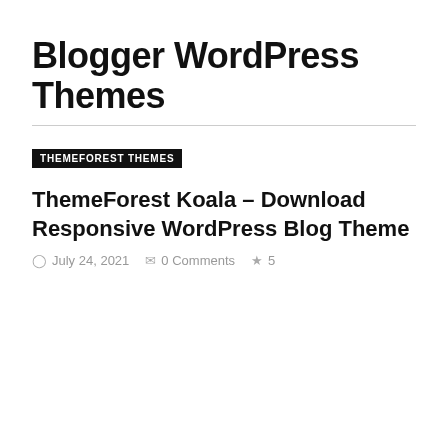Blogger WordPress Themes
THEMEFOREST THEMES
ThemeForest Koala – Download Responsive WordPress Blog Theme
July 24, 2021   0 Comments   5